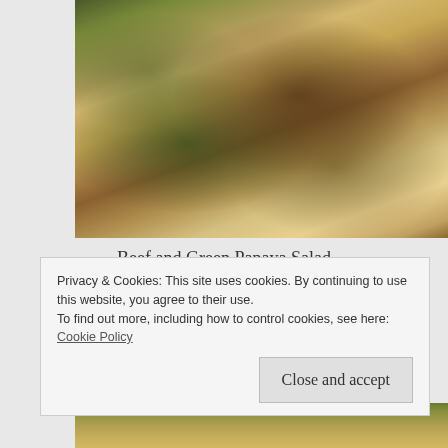[Figure (photo): Close-up photo of Beef and Green Papaya Salad dish with shredded vegetables and meat]
Beef and Green Papaya Salad
Each salad had a distinct taste. The Green Papaya and Beef salad, is not the usual spiced up salad we eat at other places. It is less spicy and relays more on the actual flavor of the papaya and not enhanced with sauces or spices.
[Figure (photo): Partial view of another food dish at bottom of page]
Privacy & Cookies: This site uses cookies. By continuing to use this website, you agree to their use.
To find out more, including how to control cookies, see here: Cookie Policy
Close and accept